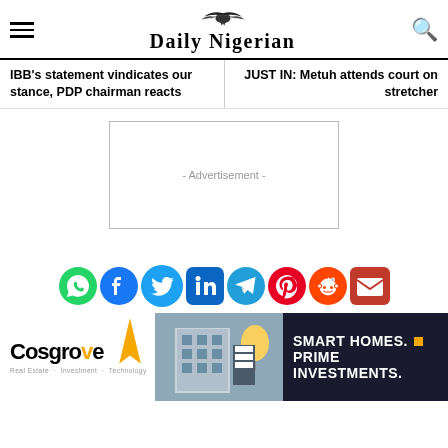Daily Nigerian
IBB's statement vindicates our stance, PDP chairman reacts
JUST IN: Metuh attends court on stretcher
[Figure (other): Advertisement placeholder box]
[Figure (other): Social media share icons row: WhatsApp, Facebook, Twitter, LinkedIn, Telegram, Pinterest, Reddit, Email]
[Figure (other): Cosgrove real estate advertisement banner with logo, building photo, and tagline: SMART HOMES. PRIME INVESTMENTS.]